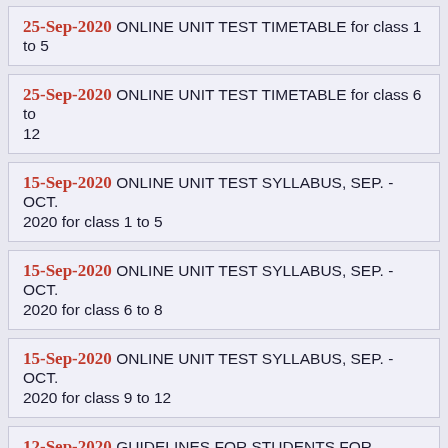25-Sep-2020 ONLINE UNIT TEST TIMETABLE for class 1 to 5
25-Sep-2020 ONLINE UNIT TEST TIMETABLE for class 6 to 12
15-Sep-2020 ONLINE UNIT TEST SYLLABUS, SEP. - OCT. 2020 for class 1 to 5
15-Sep-2020 ONLINE UNIT TEST SYLLABUS, SEP. - OCT. 2020 for class 6 to 8
15-Sep-2020 ONLINE UNIT TEST SYLLABUS, SEP. - OCT. 2020 for class 9 to 12
12-Sep-2020 GUIDELINES FOR STUDENTS FOR ONLINE